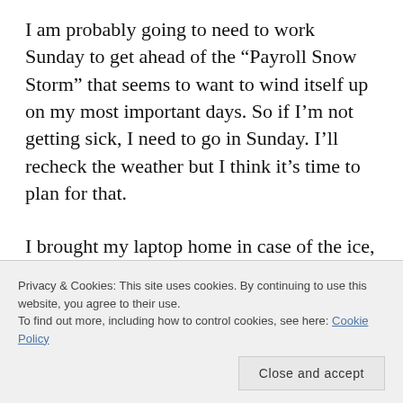I am probably going to need to work Sunday to get ahead of the “Payroll Snow Storm” that seems to want to wind itself up on my most important days. So if I’m not getting sick, I need to go in Sunday. I’ll recheck the weather but I think it’s time to plan for that.
I brought my laptop home in case of the ice, but really didn’t think that I’d be home today. But, here I am. It may just be that I am totally
Privacy & Cookies: This site uses cookies. By continuing to use this website, you agree to their use.
To find out more, including how to control cookies, see here: Cookie Policy